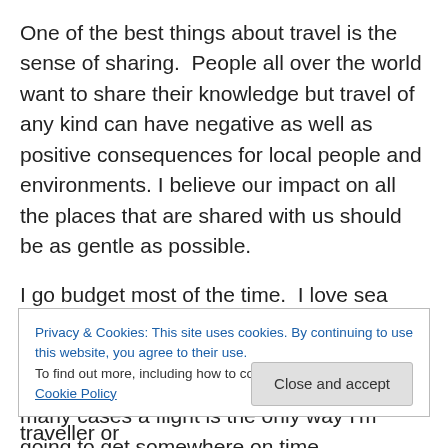One of the best things about travel is the sense of sharing.  People all over the world want to share their knowledge but travel of any kind can have negative as well as positive consequences for local people and environments. I believe our impact on all the places that are shared with us should be as gentle as possible.
I go budget most of the time.  I love sea journeys and most forms of land-based public transport, most of the time.  But I also love to drive and I appreciate that in many cases a flight is the only way I'm going to get somewhere on time,
Privacy & Cookies: This site uses cookies. By continuing to use this website, you agree to their use.
To find out more, including how to control cookies, see here: Cookie Policy
Close and accept
oppositions and the balance they bring. No traveller or